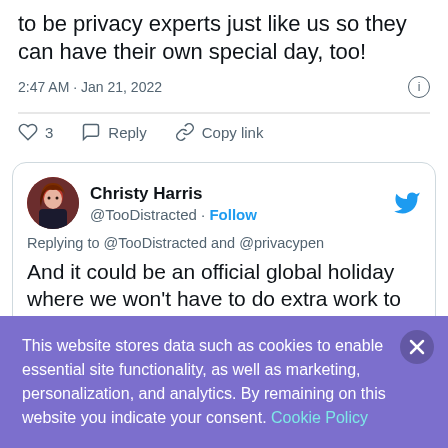Webcam covers! And everyone will clamor to be privacy experts just like us so they can have their own special day, too!
2:47 AM · Jan 21, 2022
3  Reply  Copy link
Christy Harris @TooDistracted · Follow
Replying to @TooDistracted and @privacypen
And it could be an official global holiday where we won't have to do extra work to be recognized! Who's my congress person
This website stores data such as cookies to enable essential site functionality, as well as marketing, personalization, and analytics. By remaining on this website you indicate your consent. Cookie Policy